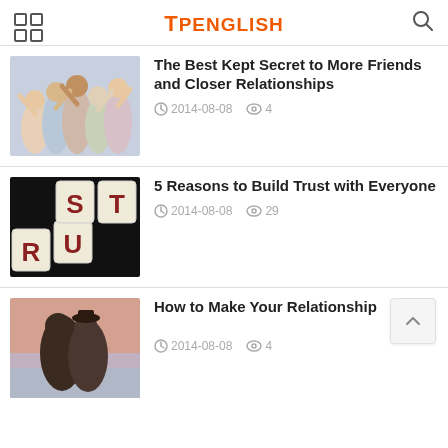TPENGLISH
The Best Kept Secret to More Friends and Closer Relationships
2014-08-08  4
5 Reasons to Build Trust with Everyone
2014-08-08  29
How to Make Your Relationship
2014-08-08  4